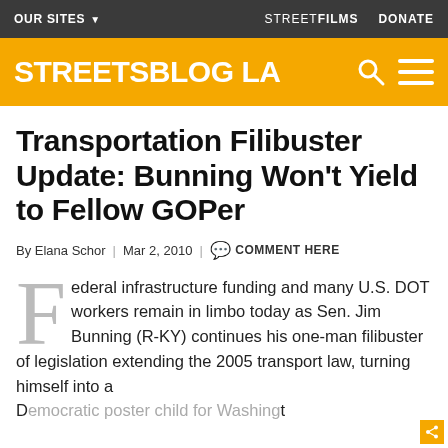OUR SITES ▼   STREETFILMS   DONATE
[Figure (logo): Streetsblog LA logo on yellow/gold background with search and menu icons]
Transportation Filibuster Update: Bunning Won't Yield to Fellow GOPer
By Elana Schor | Mar 2, 2010 | 💬 COMMENT HERE
Federal infrastructure funding and many U.S. DOT workers remain in limbo today as Sen. Jim Bunning (R-KY) continues his one-man filibuster of legislation extending the 2005 transport law, turning himself into a [Democratic poster child for Washington]